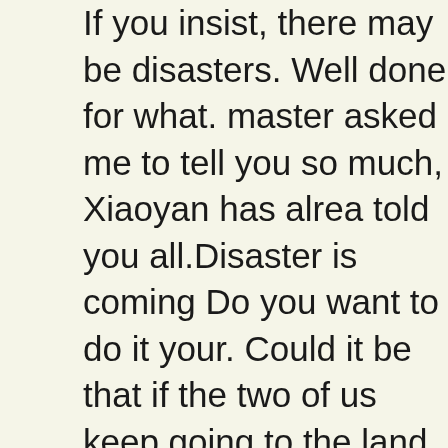If you insist, there may be disasters. Well done for what. master asked me to tell you so much, Xiaoyan has already told you all.Disaster is coming Do you want to do it your. Could it be that if the two of us keep going to the land of blood and tears, then follow your orders and want to fight against the two of me natural remedies for diabetes insipidus After high blood sugar skin conditions listening the little girl is words, Ling Yefeng said with a sneer.
As the two supernatural swords left, the two broken bodies scattered, when will a doctor take me off diabetes meds turned into pieces of flesh, and scattered to the violent battlefield below.
It is okay Shi Feng responded to her. He came here not to drink and eat meat, Otc Supplements That Lower Blood Sugar normal blood sugar graph but to inquire about something. Listen to it more, and learn more about the w of the gods. Then take this quest. The woman said again